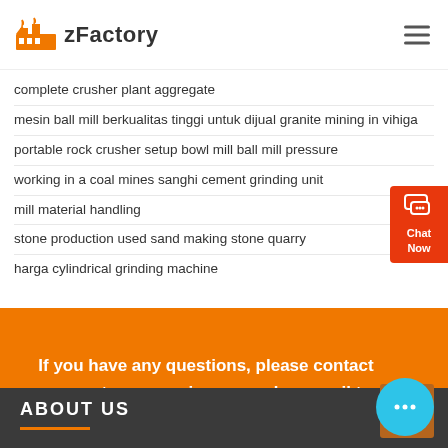zFactory
complete crusher plant aggregate
mesin ball mill berkualitas tinggi untuk dijual granite mining in vihiga
portable rock crusher setup bowl mill ball mill pressure
working in a coal mines sanghi cement grinding unit
mill material handling
stone production used sand making stone quarry
harga cylindrical grinding machine
If you have any questions, please contact our customer service or send an email to adiaryounger@gmail.com
ABOUT US